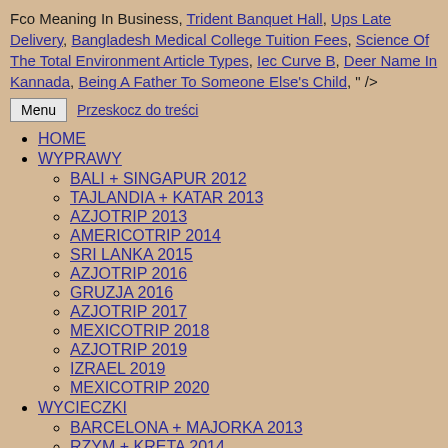Fco Meaning In Business, Trident Banquet Hall, Ups Late Delivery, Bangladesh Medical College Tuition Fees, Science Of The Total Environment Article Types, Iec Curve B, Deer Name In Kannada, Being A Father To Someone Else's Child, " />
Menu   Przeskocz do treści
HOME
WYPRAWY
BALI + SINGAPUR 2012
TAJLANDIA + KATAR 2013
AZJOTRIP 2013
AMERICOTRIP 2014
SRI LANKA 2015
AZJOTRIP 2016
GRUZJA 2016
AZJOTRIP 2017
MEXICOTRIP 2018
AZJOTRIP 2019
IZRAEL 2019
MEXICOTRIP 2020
WYCIECZKI
BARCELONA + MAJORKA 2013
RZYM + KRETA 2014
CYPR 2015
MAROKO BREAK 2018